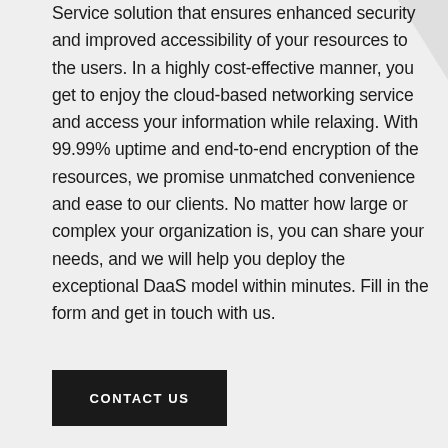Service solution that ensures enhanced security and improved accessibility of your resources to the users. In a highly cost-effective manner, you get to enjoy the cloud-based networking service and access your information while relaxing. With 99.99% uptime and end-to-end encryption of the resources, we promise unmatched convenience and ease to our clients. No matter how large or complex your organization is, you can share your needs, and we will help you deploy the exceptional DaaS model within minutes. Fill in the form and get in touch with us.
CONTACT US